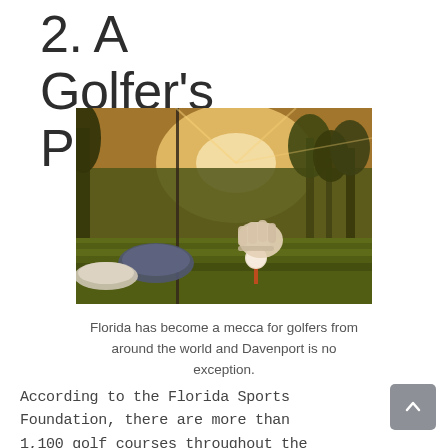2. A Golfer's Paradise
[Figure (photo): A golfer placing a golf ball on a tee at golden hour, with a golf club and green fairway visible, warm sunlight filtering through trees in the background.]
Florida has become a mecca for golfers from around the world and Davenport is no exception.
According to the Florida Sports Foundation, there are more than 1,100 golf courses throughout the state making Florida a top destination for golfers. Davenport is